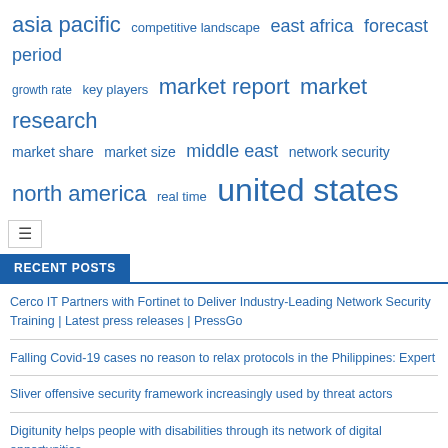[Figure (infographic): Tag cloud with blue terms of varying sizes: asia pacific, competitive landscape, east africa, forecast period, growth rate, key players, market report, market research, market share, market size, middle east, network security, north america, real time, united states]
RECENT POSTS
Cerco IT Partners with Fortinet to Deliver Industry-Leading Network Security Training | Latest press releases | PressGo
Falling Covid-19 cases no reason to relax protocols in the Philippines: Expert
Sliver offensive security framework increasingly used by threat actors
Digitunity helps people with disabilities through its network of digital opportunities
Improved frontline security with DPI for RAN